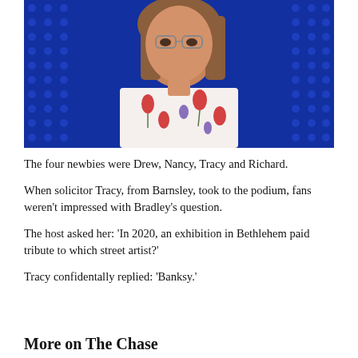[Figure (photo): A woman with glasses and brown hair wearing a white floral blouse with red and blue flowers, standing against a dark blue dotted background, appearing to be on a TV game show set.]
The four newbies were Drew, Nancy, Tracy and Richard.
When solicitor Tracy, from Barnsley, took to the podium, fans weren't impressed with Bradley's question.
The host asked her: 'In 2020, an exhibition in Bethlehem paid tribute to which street artist?'
Tracy confidentally replied: 'Banksy.'
More on The Chase